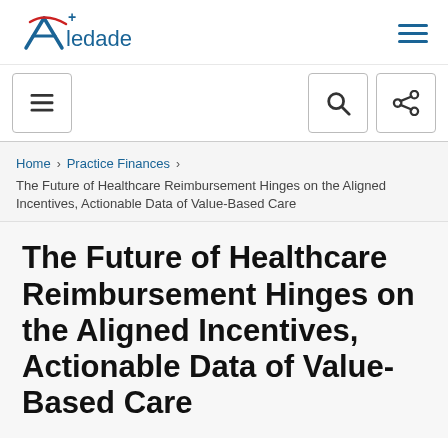[Figure (logo): Aledade logo with stylized A and red arc]
Navigation bar with hamburger menu, search, and share icons
Home > Practice Finances > The Future of Healthcare Reimbursement Hinges on the Aligned Incentives, Actionable Data of Value-Based Care
The Future of Healthcare Reimbursement Hinges on the Aligned Incentives, Actionable Data of Value-Based Care